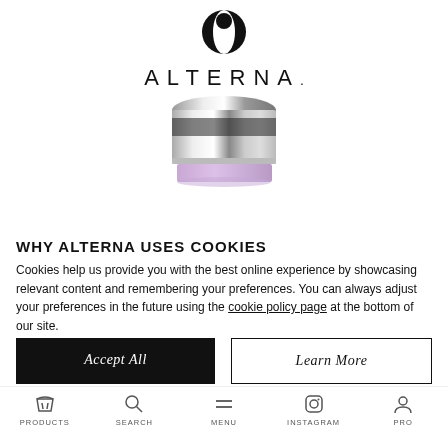[Figure (logo): Alterna haircare brand logo: circular abstract icon above the text ALTERNA. in spaced capital letters]
[Figure (photo): Alterna product jar with chrome/silver metallic lid and lavender/purple base, viewed from slightly above]
WHY ALTERNA USES COOKIES
Cookies help us provide you with the best online experience by showcasing relevant content and remembering your preferences. You can always adjust your preferences in the future using the cookie policy page at the bottom of our site.
[Figure (other): Two buttons: 'Accept All' (black filled) and 'Learn More' (white with black border)]
[Figure (photo): Alterna product bottom/base in lavender purple color, trapezoid shape]
[Figure (other): Purple circular accessibility icon with wheelchair symbol]
PRODUCTS   SEARCH   MENU   INSTAGRAM   PRO